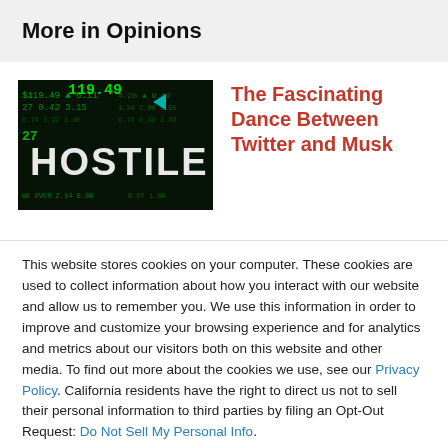More in Opinions
[Figure (photo): Stock market ticker board showing the word HOSTILE in large letters with green financial data numbers in background]
The Fascinating Dance Between Twitter and Musk
This website stores cookies on your computer. These cookies are used to collect information about how you interact with our website and allow us to remember you. We use this information in order to improve and customize your browsing experience and for analytics and metrics about our visitors both on this website and other media. To find out more about the cookies we use, see our Privacy Policy. California residents have the right to direct us not to sell their personal information to third parties by filing an Opt-Out Request: Do Not Sell My Personal Info.
Accept